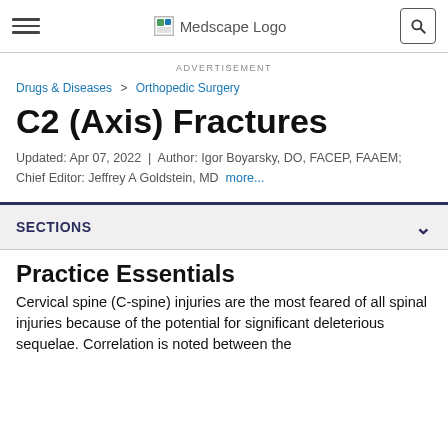Medscape Logo
ADVERTISEMENT
Drugs & Diseases > Orthopedic Surgery
C2 (Axis) Fractures
Updated: Apr 07, 2022  |  Author: Igor Boyarsky, DO, FACEP, FAAEM; Chief Editor: Jeffrey A Goldstein, MD  more...
SECTIONS
Practice Essentials
Cervical spine (C-spine) injuries are the most feared of all spinal injuries because of the potential for significant deleterious sequelae. Correlation is noted between the